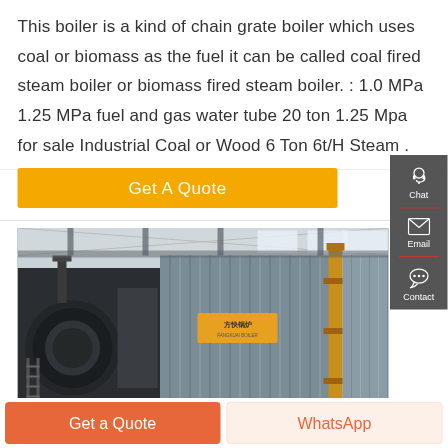This boiler is a kind of chain grate boiler which uses coal or biomass as the fuel it can be called coal fired steam boiler or biomass fired steam boiler. : 1.0 MPa 1.25 MPa fuel and gas water tube 20 ton 1.25 Mpa for sale Industrial Coal or Wood 6 Ton 6t/H Steam .
[Figure (other): Yellow 'Get A Quote' button]
[Figure (photo): Industrial chain grate boiler in a factory setting, showing large metal equipment, pipes, and corrugated metal panels with Chinese branding.]
[Figure (infographic): Right sidebar with dark gray background showing Chat (headset icon), Email (envelope icon), and Contact (speech bubble icon) buttons separated by red dividers.]
[Figure (other): Bottom bar with orange 'Get a Quote' button and light orange 'WhatsApp' button.]